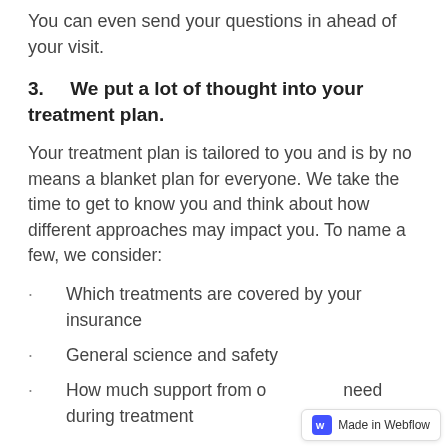You can even send your questions in ahead of your visit.
3.    We put a lot of thought into your treatment plan.
Your treatment plan is tailored to you and is by no means a blanket plan for everyone. We take the time to get to know you and think about how different approaches may impact you. To name a few, we consider:
Which treatments are covered by your insurance
General science and safety
How much support from others you need during treatment